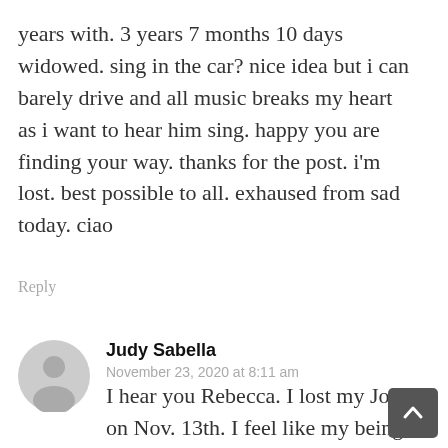years with. 3 years 7 months 10 days widowed. sing in the car? nice idea but i can barely drive and all music breaks my heart as i want to hear him sing. happy you are finding your way. thanks for the post. i'm lost. best possible to all. exhaused from sad today. ciao
Reply
Judy Sabella
November 23, 2020 at 8:11 am
I hear you Rebecca. I lost my Joe on Nov. 13th. I feel like my being is gone. We would